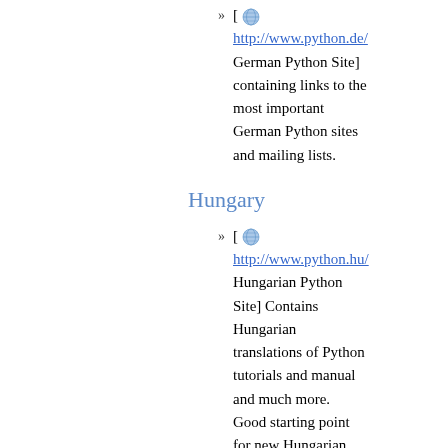[ http://www.python.de/ German Python Site] containing links to the most important German Python sites and mailing lists.
Hungary
[ http://www.python.hu/ Hungarian Python Site] Contains Hungarian translations of Python tutorials and manual and much more. Good starting point for new Hungarian Python users.